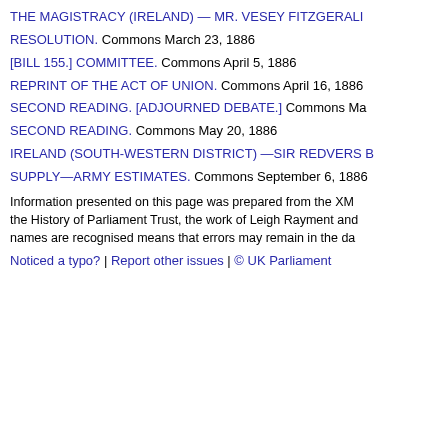THE MAGISTRACY (IRELAND) — MR. VESEY FITZGERALD
RESOLUTION. Commons March 23, 1886
[BILL 155.] COMMITTEE. Commons April 5, 1886
REPRINT OF THE ACT OF UNION. Commons April 16, 1886
SECOND READING. [ADJOURNED DEBATE.] Commons Ma…
SECOND READING. Commons May 20, 1886
IRELAND (SOUTH-WESTERN DISTRICT) —SIR REDVERS B…
SUPPLY—ARMY ESTIMATES. Commons September 6, 1886
Information presented on this page was prepared from the XM… the History of Parliament Trust, the work of Leigh Rayment and… names are recognised means that errors may remain in the da…
Noticed a typo? | Report other issues | © UK Parliament